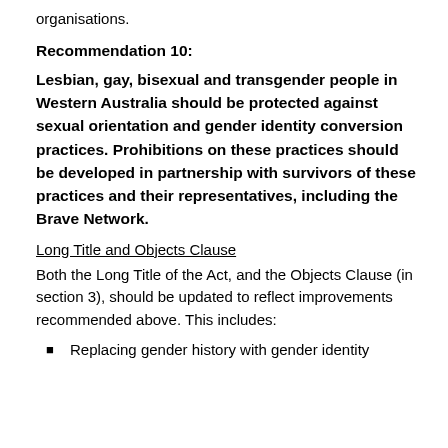organisations.
Recommendation 10:
Lesbian, gay, bisexual and transgender people in Western Australia should be protected against sexual orientation and gender identity conversion practices. Prohibitions on these practices should be developed in partnership with survivors of these practices and their representatives, including the Brave Network.
Long Title and Objects Clause
Both the Long Title of the Act, and the Objects Clause (in section 3), should be updated to reflect improvements recommended above. This includes:
Replacing gender history with gender identity